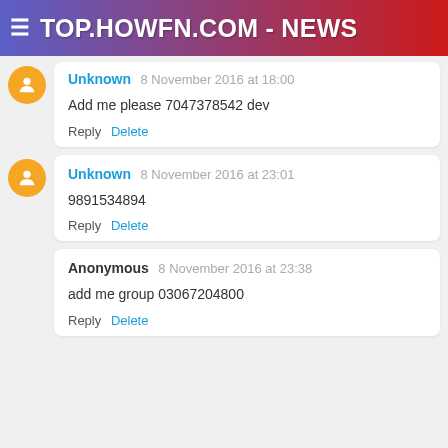TOP.HOWFN.COM - NEWS
Unknown 8 November 2016 at 18:00
Add me please 7047378542 dev
Reply  Delete
Unknown 8 November 2016 at 23:01
9891534894
Reply  Delete
Anonymous 8 November 2016 at 23:38
add me group 03067204800
Reply  Delete